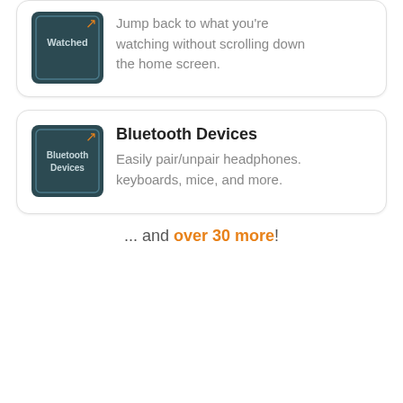[Figure (screenshot): App icon for 'Continue Watching' — dark teal square with 'Watched' text and an orange arrow]
Jump back to what you're watching without scrolling down the home screen.
[Figure (screenshot): App icon for 'Bluetooth Devices' — dark teal square with 'Bluetooth Devices' text and an orange arrow]
Bluetooth Devices
Easily pair/unpair headphones. keyboards, mice, and more.
... and over 30 more!